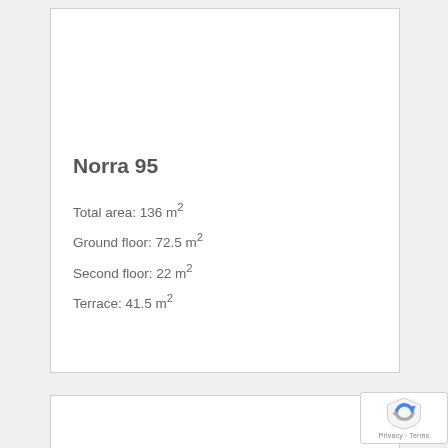Norra 95
Total area: 136 m²
Ground floor: 72.5 m²
Second floor: 22 m²
Terrace: 41.5 m²
[Figure (other): Partial view of a second card/panel at bottom of page]
[Figure (other): Google reCAPTCHA badge with shield icon and Privacy - Terms text]